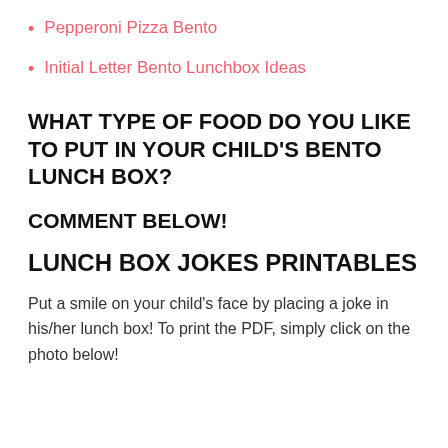Pepperoni Pizza Bento
Initial Letter Bento Lunchbox Ideas
WHAT TYPE OF FOOD DO YOU LIKE TO PUT IN YOUR CHILD'S BENTO LUNCH BOX?
COMMENT BELOW!
LUNCH BOX JOKES PRINTABLES
Put a smile on your child's face by placing a joke in his/her lunch box! To print the PDF, simply click on the photo below!